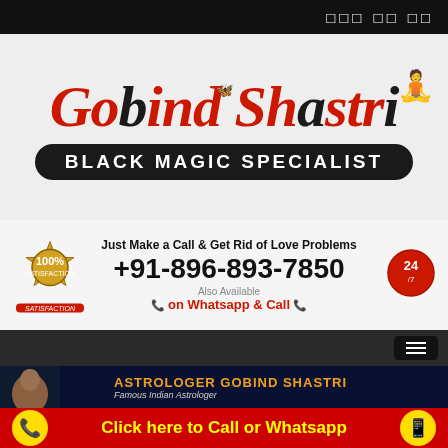□□□ □□ □□
[Figure (logo): Gobind Shastri logo with red cursive text 'Gobind Shastri' and black pill-shaped banner reading 'BLACK MAGIC SPECIALIST']
[Figure (infographic): Contact banner: '100% SATISFACTION GUARANTEE' gold badge, text 'Just Make a Call & Get Rid of Love Problems', phone number '+91-896-893-7850', WhatsApp icon, 'Also Available on Whatsapp & Call', 24/7 badge]
[Figure (screenshot): Dark navigation bar with hamburger menu icon on the right]
[Figure (photo): Hero banner showing 'ASTROLOGER GOBIND SHASTRI - Famous Indian Astrologer' with a man's photo on a starry background]
Click here to Call or Whatsapp